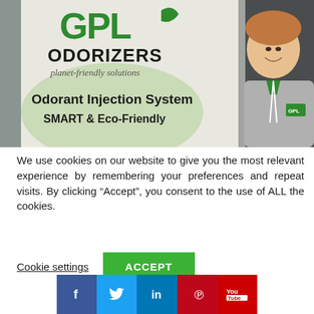[Figure (photo): Photo of a young man with reddish hair smiling, standing in front of a banner for GPL Odorizers showing 'planet-friendly solutions', 'Odorant Injection System', and 'SMART & Eco-Friendly'. He wears a grey jacket with green collar and a GPL logo on the chest.]
We use cookies on our website to give you the most relevant experience by remembering your preferences and repeat visits. By clicking “Accept”, you consent to the use of ALL the cookies.
Cookie settings
ACCEPT